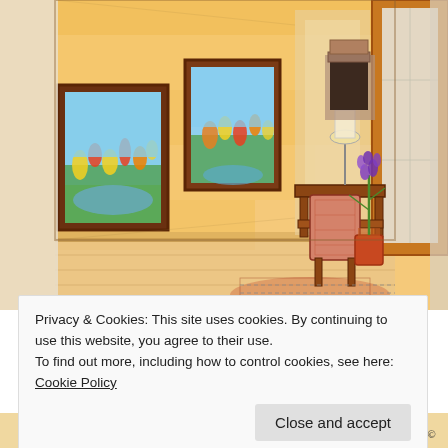[Figure (illustration): A hand-drawn colored pencil interior design sketch showing a hallway/corridor with warm yellow walls. On the left wall hang two framed paintings depicting colorful floral garden scenes with blue sky and tulips. The hallway leads to a background room with a fireplace and lamp. In the foreground is a wooden console table, a chair with patterned upholstery, and a potted purple flower (hyacinth) on the right. The floor has wood paneling and a patterned area rug. On the far right is a large window with a golden frame. The illustration is signed 'FRED GONSOWSKI©' at the bottom right.]
Privacy & Cookies: This site uses cookies. By continuing to use this website, you agree to their use.
To find out more, including how to control cookies, see here: Cookie Policy
Close and accept